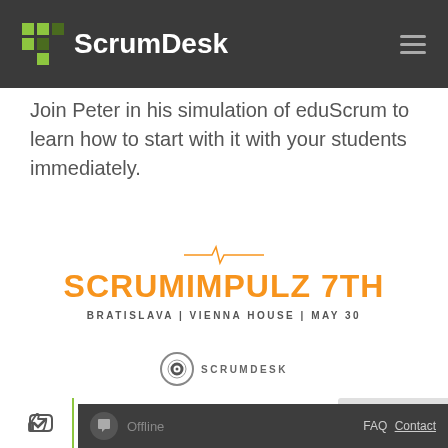ScrumDesk
Join Peter in his simulation of eduScrum to learn how to start with it with your students immediately.
[Figure (logo): ScrumImpulz 7th event logo with pulse/heartbeat icon above orange bold title text, subtitle reads BRATISLAVA | VIENNA HOUSE | MAY 30]
[Figure (logo): ScrumDesk circular badge logo with text SCRUMDESK]
BOOK YOUR SEAT
Offline
FAQ Contact